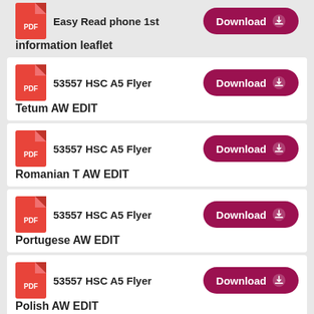Easy Read phone 1st information leaflet
53557 HSC A5 Flyer Tetum AW EDIT
53557 HSC A5 Flyer Romanian T AW EDIT
53557 HSC A5 Flyer Portugese AW EDIT
53557 HSC A5 Flyer Polish AW EDIT